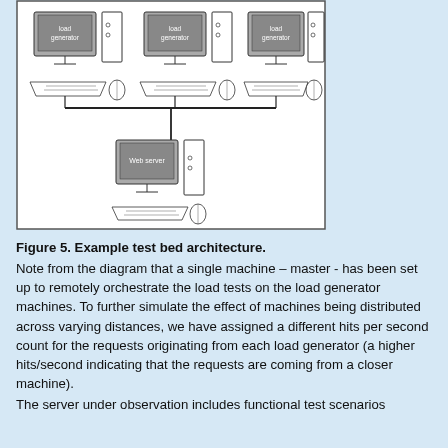[Figure (engineering-diagram): Test bed architecture diagram showing three load generator computers connected via a horizontal bus to a web server computer below. Each load generator machine has a monitor displaying 'load generator', a tower unit, keyboard and mouse. The web server below has a monitor displaying 'Web server', a tower unit, keyboard and mouse. Connections shown by lines forming a T-shape network.]
Figure 5. Example test bed architecture.
Note from the diagram that a single machine – master - has been set up to remotely orchestrate the load tests on the load generator machines. To further simulate the effect of machines being distributed across varying distances, we have assigned a different hits per second count for the requests originating from each load generator (a higher hits/second indicating that the requests are coming from a closer machine).
The server under observation includes functional test scenarios